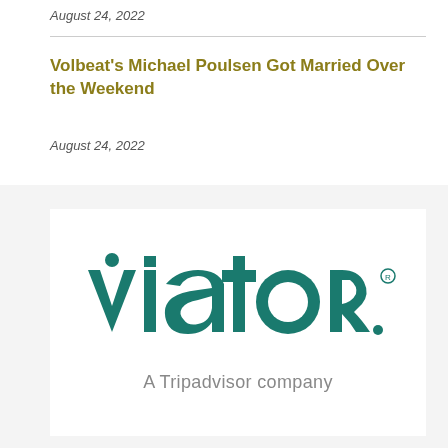August 24, 2022
Volbeat’s Michael Poulsen Got Married Over the Weekend
August 24, 2022
[Figure (logo): Viator logo — large teal wordmark reading 'viator.' with registered trademark symbol, and tagline 'A Tripadvisor company' in grey below.]